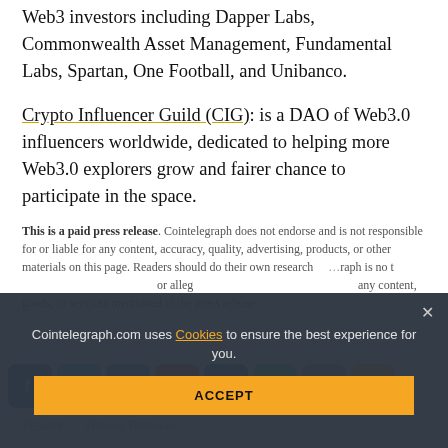Web3 investors including Dapper Labs, Commonwealth Asset Management, Fundamental Labs, Spartan, One Football, and Unibanco.
Crypto Influencer Guild (CIG): is a DAO of Web3.0 influencers worldwide, dedicated to helping more Web3.0 explorers grow and fairer chance to participate in the space.
This is a paid press release. Cointelegraph does not endorse and is not responsible for or liable for any content, accuracy, quality, advertising, products, or other materials on this page. Readers should do their own research and make actions based on their own discretion. Cointelegraph is not responsible, directly or indirectly, for any damage or loss caused or alleged to be caused by or in connection with the use of or reliance on any content, goods, or services mentioned in the press release.
[Figure (infographic): Social media share buttons: Facebook (blue), Twitter (light blue), Telegram (cyan), Reddit (orange-red), LinkedIn (blue), WhatsApp (green), Copy (gray), Scroll-up (yellow/orange)]
#Event   #Press Release
Cointelegraph.com uses Cookies to ensure the best experience for you.
ACCEPT